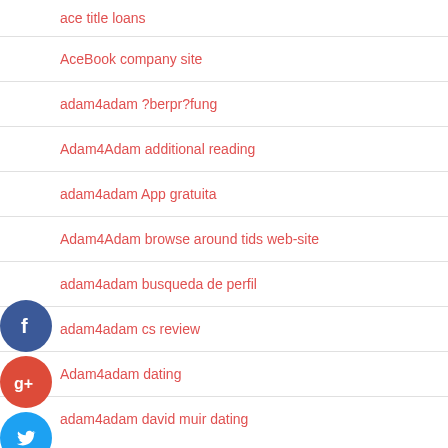ace title loans
AceBook company site
adam4adam ?berpr?fung
Adam4Adam additional reading
adam4adam App gratuita
Adam4Adam browse around tids web-site
adam4adam busqueda de perfil
adam4adam cs review
Adam4adam dating
adam4adam david muir dating